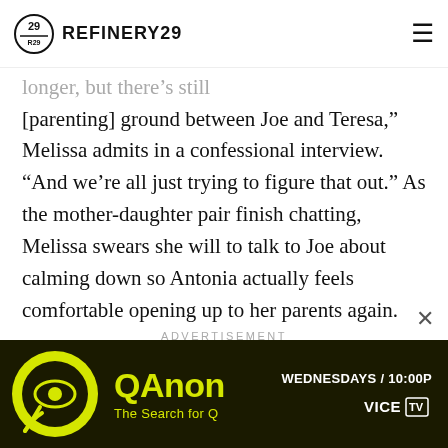REFINERY29
[parenting] ground between Joe and Teresa," Melissa admits in a confessional interview. "And we’re all just trying to figure that out." As the mother-daughter pair finish chatting, Melissa swears she will to talk to Joe about calming down so Antonia actually feels comfortable opening up to her parents again.
ADVERTISEMENT
[Figure (screenshot): QAnon advertisement banner: dark background with yellow text reading 'QAnon The Search for Q', schedule 'WEDNESDAYS / 10:00P', VICE TV logo]